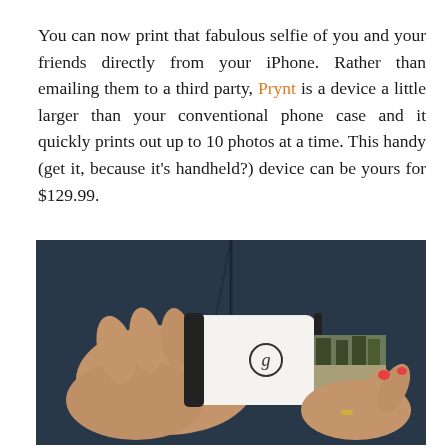You can now print that fabulous selfie of you and your friends directly from your iPhone. Rather than emailing them to a third party, Prynt is a device a little larger than your conventional phone case and it quickly prints out up to 10 photos at a time. This handy (get it, because it's handheld?) device can be yours for $129.99.
[Figure (photo): Person wearing a dark navy blue jacket, holding a white Prynt device (phone case printer) with a photo printing out from it showing trees/forest scene. Another hand holds the printed photo.]